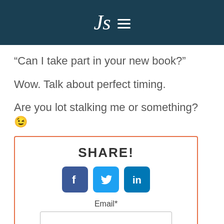Js ☰
“Can I take part in your new book?”
Wow. Talk about perfect timing.
Are you lot stalking me or something? 😉
[Figure (screenshot): Share box with SHARE! heading, Facebook, Twitter, LinkedIn social icons, an Email* input field, and a Subscribe button. Bordered with orange outline.]